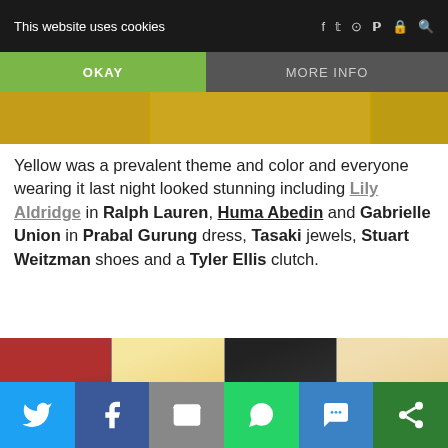This website uses cookies
OKAY | MORE INFO
[Figure (photo): Yellow-themed fashion photo strip at the top of the article]
Yellow was a prevalent theme and color and everyone wearing it last night looked stunning including Lily Aldridge in Ralph Lauren, Huma Abedin and Gabrielle Union in Prabal Gurung dress, Tasaki jewels, Stuart Weitzman shoes and a Tyler Ellis clutch.
[Figure (photo): Four celebrity photos at a red carpet event showing women in various outfits]
Social share buttons: Twitter, Facebook, Email, WhatsApp, SMS, Other